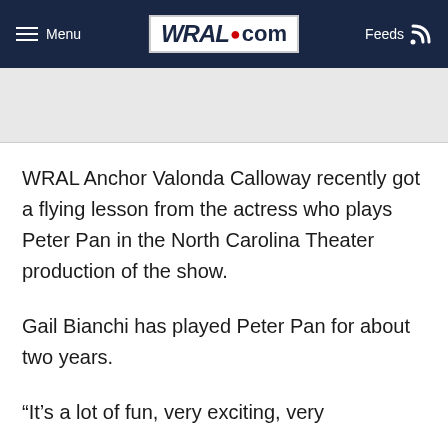Menu | WRAL.com | Feeds
WRAL Anchor Valonda Calloway recently got a flying lesson from the actress who plays Peter Pan in the North Carolina Theater production of the show.
Gail Bianchi has played Peter Pan for about two years.
“It’s a lot of fun, very exciting, very